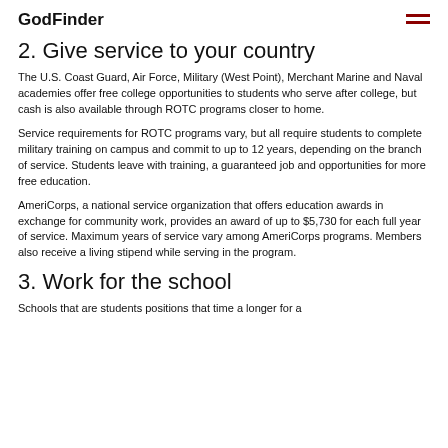GodFinder
2. Give service to your country
The U.S. Coast Guard, Air Force, Military (West Point), Merchant Marine and Naval academies offer free college opportunities to students who serve after college, but cash is also available through ROTC programs closer to home.
Service requirements for ROTC programs vary, but all require students to complete military training on campus and commit to up to 12 years, depending on the branch of service. Students leave with training, a guaranteed job and opportunities for more free education.
AmeriCorps, a national service organization that offers education awards in exchange for community work, provides an award of up to $5,730 for each full year of service. Maximum years of service vary among AmeriCorps programs. Members also receive a living stipend while serving in the program.
3. Work for the school
Schools that are students positions that time a longer for a